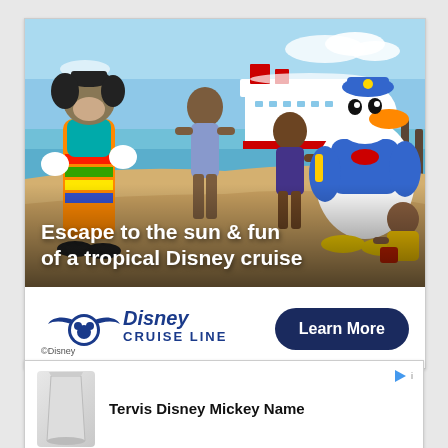[Figure (photo): Disney Cruise Line advertisement showing Goofy and Donald Duck mascots on a tropical beach with children, a cruise ship visible in the background. Text overlay reads: Escape to the sun & fun of a tropical Disney cruise]
[Figure (logo): Disney Cruise Line logo with Mickey Mouse winged ship emblem and stylized text 'Disney Cruise Line']
©Disney
Learn More
[Figure (photo): Tervis Disney Mickey Name product image (tumbler/cup)]
Tervis Disney Mickey Name